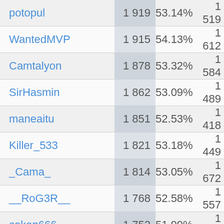| Name | Rating | Win Rate | Battles |
| --- | --- | --- | --- |
| potopul | 1 919 | 53.14% | 1 519 |
| WantedMVP | 1 915 | 54.13% | 1 612 |
| Camtalyon | 1 878 | 53.32% | 1 584 |
| SirHasmin | 1 862 | 53.09% | 1 489 |
| maneaitu | 1 851 | 52.53% | 1 418 |
| Killer_533 | 1 821 | 53.18% | 1 449 |
| _Cama_ | 1 814 | 53.05% | 1 672 |
| __RoG3R__ | 1 768 | 52.58% | 1 557 |
| cokan666 | 1 752 | 51.99% | 1 428 |
| CeVe_333 | 1 750 | 51.99% | 1 570 |